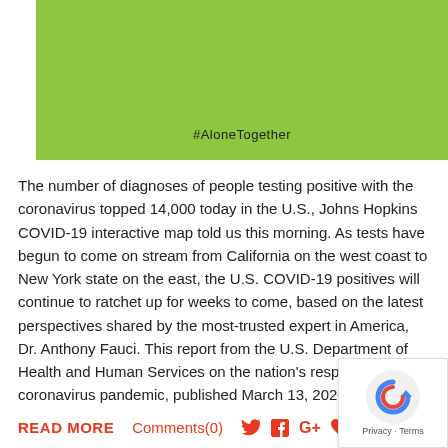[Figure (other): Green banner with #AloneTogether hashtag text]
The number of diagnoses of people testing positive with the coronavirus topped 14,000 today in the U.S., Johns Hopkins COVID-19 interactive map told us this morning. As tests have begun to come on stream from California on the west coast to New York state on the east, the U.S. COVID-19 positives will continue to ratchet up for weeks to come, based on the latest perspectives shared by the most-trusted expert in America, Dr. Anthony Fauci. This report from the U.S. Department of Health and Human Services on the nation's response to the coronavirus pandemic, published March 13, 2020, forecasts a
READ MORE   Comments(0)
Shaky Trust in the